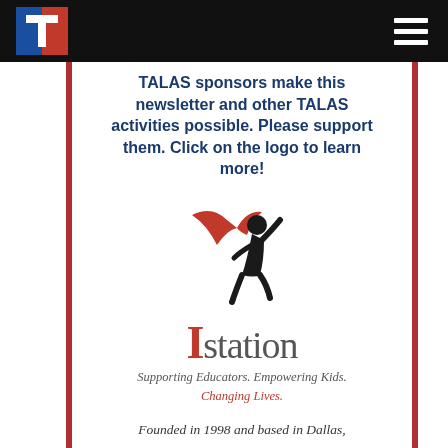t [logo] [hamburger menu]
TALAS sponsors make this newsletter and other TALAS activities possible. Please support them. Click on the logo to learn more!
[Figure (logo): Istation logo: silhouette of a jumping child with a red cape, above the word 'Istation' with a large red I, and tagline 'Supporting Educators. Empowering Kids. Changing Lives.']
Founded in 1998 and based in Dallas,